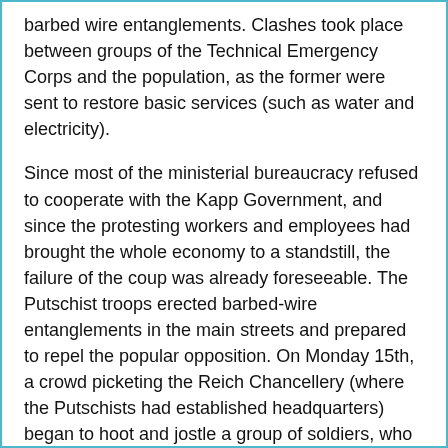barbed wire entanglements. Clashes took place between groups of the Technical Emergency Corps and the population, as the former were sent to restore basic services (such as water and electricity).
Since most of the ministerial bureaucracy refused to cooperate with the Kapp Government, and since the protesting workers and employees had brought the whole economy to a standstill, the failure of the coup was already foreseeable. The Putschist troops erected barbed-wire entanglements in the main streets and prepared to repel the popular opposition. On Monday 15th, a crowd picketing the Reich Chancellery (where the Putschists had established headquarters) began to hoot and jostle a group of soldiers, who opened fire, killing and wounding several protesters. Further clashes occurred in other Berlin neighborhoods and in other cities, such as Frankfurt. In the meantime, the strike was proving its effect in several parts of the country. The industrial Ruhr region, for instance, had been completely paralyzed, a fact that worried the Putsch leaders in Berlin and made